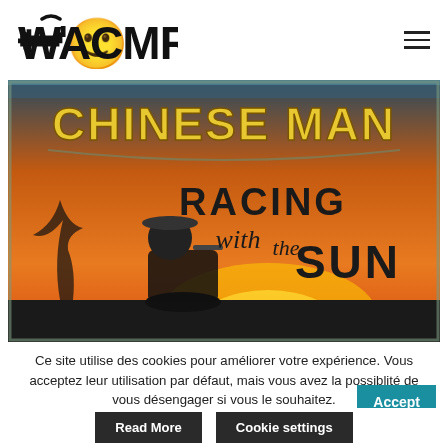WACMR
[Figure (illustration): Chinese Man - Racing with the Sun album cover art. Orange and dark background with a figure on a motorcycle, text reads 'CHINESE MAN' in large yellow letters at top, 'RACING with the SUN' in large black letters below.]
Ce site utilise des cookies pour améliorer votre expérience. Vous acceptez leur utilisation par défaut, mais vous avez la possiblité de vous désengager si vous le souhaitez.
Accept
Read More
Cookie settings